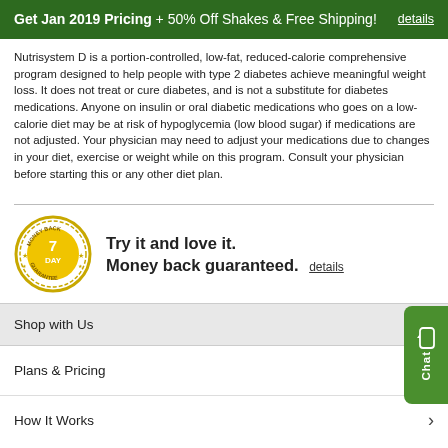Get Jan 2019 Pricing + 50% Off Shakes & Free Shipping! details
Nutrisystem D is a portion-controlled, low-fat, reduced-calorie comprehensive program designed to help people with type 2 diabetes achieve meaningful weight loss. It does not treat or cure diabetes, and is not a substitute for diabetes medications. Anyone on insulin or oral diabetic medications who goes on a low-calorie diet may be at risk of hypoglycemia (low blood sugar) if medications are not adjusted. Your physician may need to adjust your medications due to changes in your diet, exercise or weight while on this program. Consult your physician before starting this or any other diet plan.
[Figure (other): 7 Day Money Back Guarantee badge/seal — circular gold and white badge with text MONEY BACK GUARANTEE and 7 DAY in center]
Try it and love it. Money back guaranteed. details
Shop with Us
Plans & Pricing
How It Works